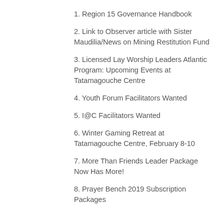1. Region 15 Governance Handbook
2. Link to Observer article with Sister Maudilia/News on Mining Restitution Fund
3. Licensed Lay Worship Leaders Atlantic Program: Upcoming Events at Tatamagouche Centre
4. Youth Forum Facilitators Wanted
5. I@C Facilitators Wanted
6. Winter Gaming Retreat at Tatamagouche Centre, February 8-10
7. More Than Friends Leader Package Now Has More!
8. Prayer Bench 2019 Subscription Packages